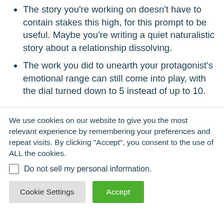The story you’re working on doesn’t have to contain stakes this high, for this prompt to be useful. Maybe you’re writing a quiet naturalistic story about a relationship dissolving.
The work you did to unearth your protagonist’s emotional range can still come into play, with the dial turned down to 5 instead of up to 10.
We use cookies on our website to give you the most relevant experience by remembering your preferences and repeat visits. By clicking “Accept”, you consent to the use of ALL the cookies.
Do not sell my personal information.
Cookie Settings
Accept